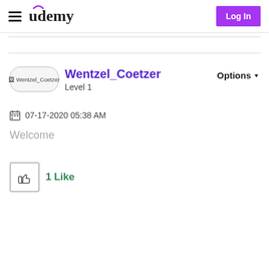Udemy — Log In
[Figure (illustration): Broken image placeholder showing avatar for Wentzel_Coetzer]
Wentzel_Coetzer
Level 1
Options ▼
07-17-2020 05:38 AM
Welcome
1 Like